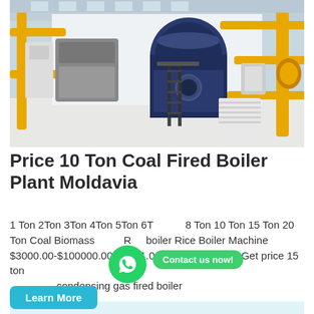[Figure (photo): Industrial boiler plant interior showing large blue cylindrical boiler with yellow pipes and metal staircase in a white industrial facility]
Price 10 Ton Coal Fired Boiler Plant Moldavia
1 Ton 2Ton 3Ton 4Ton 5Ton 6T... 8 Ton 10 Ton 15 Ton 20 Ton Coal Biomass ... Rice Boiler Machine $3000.00-$100000.00 / Set 1.0 Sets (Min. Order) Get price 15 ton condensing gas fired boiler